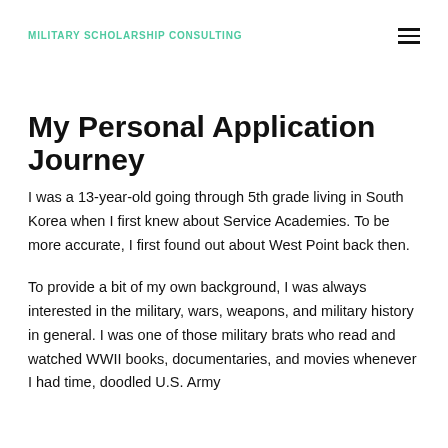MILITARY SCHOLARSHIP CONSULTING
My Personal Application Journey
I was a 13-year-old going through 5th grade living in South Korea when I first knew about Service Academies. To be more accurate, I first found out about West Point back then.
To provide a bit of my own background, I was always interested in the military, wars, weapons, and military history in general. I was one of those military brats who read and watched WWII books, documentaries, and movies whenever I had time, doodled U.S. Army